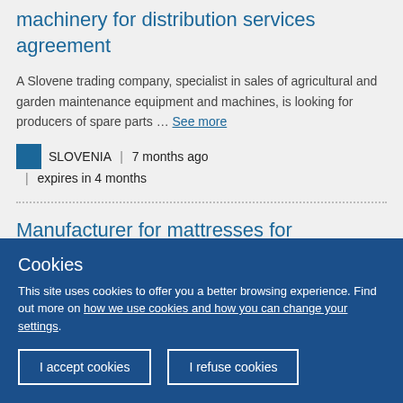machinery for distribution services agreement
A Slovene trading company, specialist in sales of agricultural and garden maintenance equipment and machines, is looking for producers of spare parts … See more
SLOVENIA | 7 months ago | expires in 4 months
Manufacturer for mattresses for
Cookies
This site uses cookies to offer you a better browsing experience. Find out more on how we use cookies and how you can change your settings.
I accept cookies | I refuse cookies